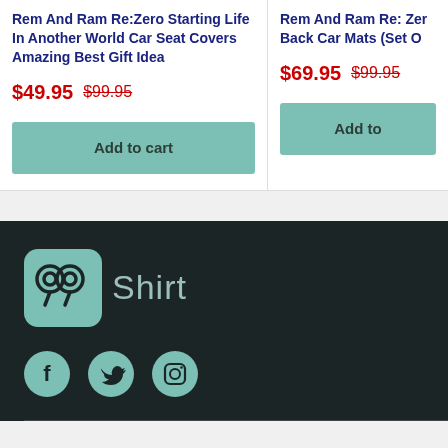Rem And Ram Re:Zero Starting Life In Another World Car Seat Covers Amazing Best Gift Idea
$49.95 $99.95
Add to cart
Rem And Ram Re: Zero Back Car Mats (Set O...
$69.95 $99.95
Add to
[Figure (logo): 99Shirt logo: teal rounded square with '99' monogram in dark color, followed by 'Shirt' text in gray]
[Figure (infographic): Social media icons: Facebook (f), Twitter (bird), Instagram (camera) — all in teal color on dark background]